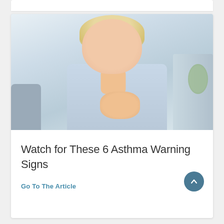[Figure (photo): A blonde woman in a light blue shirt holding her hand to her chest and throat, appearing to have difficulty breathing, suggesting asthma symptoms. Background is a blurred light interior.]
Watch for These 6 Asthma Warning Signs
Go To The Article